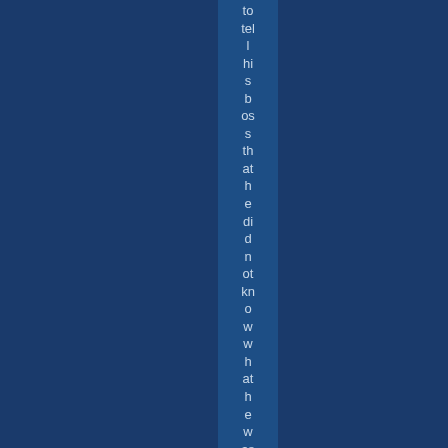to tell his boss that he did not know what he was talking